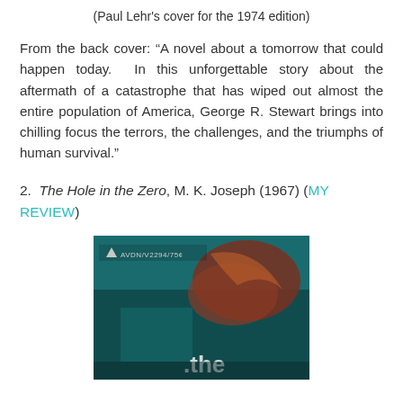(Paul Lehr's cover for the 1974 edition)
From the back cover: “A novel about a tomorrow that could happen today.  In this unforgettable story about the aftermath of a catastrophe that has wiped out almost the entire population of America, George R. Stewart brings into chilling focus the terrors, the challenges, and the triumphs of human survival.”
2.  The Hole in the Zero, M. K. Joseph (1967) (MY REVIEW)
[Figure (photo): Book cover of 'The Hole in the Zero' published by AVON/V2294/75¢, showing a dark teal background with abstract shapes and the word 'the' visible at the bottom.]